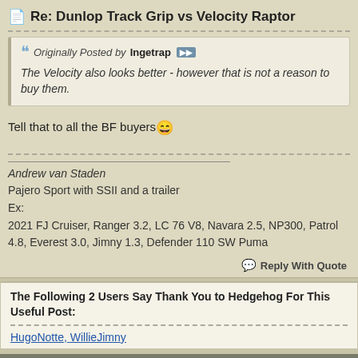Re: Dunlop Track Grip vs Velocity Raptor
Originally Posted by Ingetrap
The Velocity also looks better - however that is not a reason to buy them.
Tell that to all the BF buyers 😄
Andrew van Staden
Pajero Sport with SSII and a trailer
Ex:
2021 FJ Cruiser, Ranger 3.2, LC 76 V8, Navara 2.5, NP300, Patrol 4.8, Everest 3.0, Jimny 1.3, Defender 110 SW Puma
Reply With Quote
The Following 2 Users Say Thank You to Hedgehog For This Useful Post:
HugoNotte, WillieJimny
2021/08/19,  01:45 PM  #8
quintondebeer